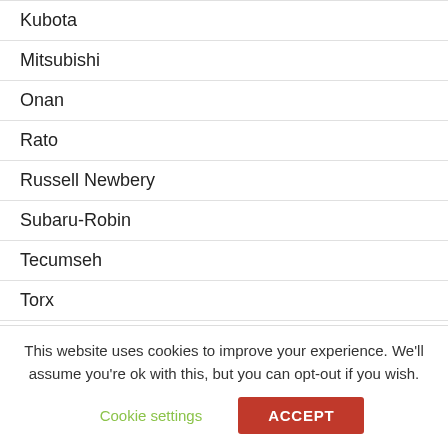Kubota
Mitsubishi
Onan
Rato
Russell Newbery
Subaru-Robin
Tecumseh
Torx
Toyosha
Yamaha
This website uses cookies to improve your experience. We'll assume you're ok with this, but you can opt-out if you wish.
Cookie settings | ACCEPT